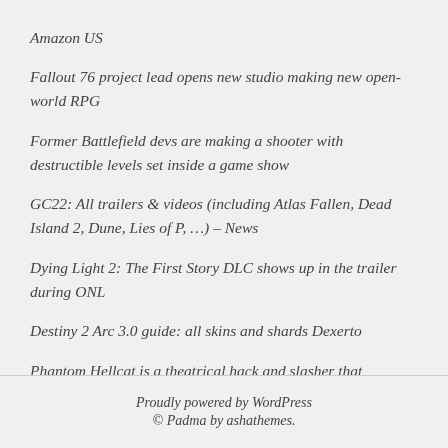Amazon US
Fallout 76 project lead opens new studio making new open-world RPG
Former Battlefield devs are making a shooter with destructible levels set inside a game show
GC22: All trailers & videos (including Atlas Fallen, Dead Island 2, Dune, Lies of P, …) – News
Dying Light 2: The First Story DLC shows up in the trailer during ONL
Destiny 2 Arc 3.0 guide: all skins and shards Dexerto
Phantom Hellcat is a theatrical hack and slasher that switches perspectives
Proudly powered by WordPress
© Padma by ashathemes.